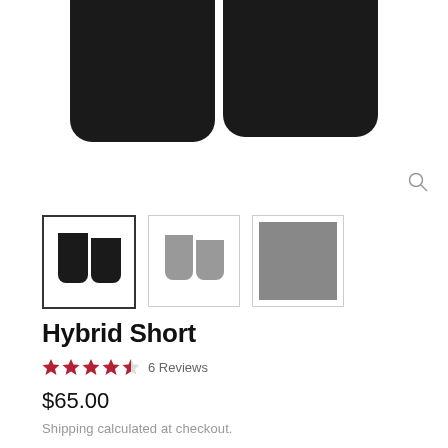[Figure (photo): Product image of black Hybrid Shorts shown from the front, two legs visible against white background]
[Figure (photo): Three product thumbnails: black shorts (selected/active), gray shorts, and gray fabric swatch]
Hybrid Short
4.5 stars  6 Reviews
$65.00
Shipping calculated at checkout.
Size
Size buttons row (multiple size options)